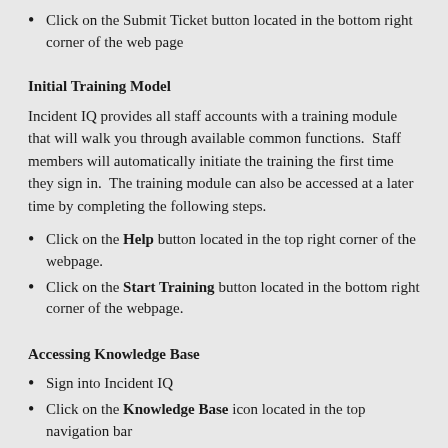Click on the Submit Ticket button located in the bottom right corner of the web page
Initial Training Model
Incident IQ provides all staff accounts with a training module that will walk you through available common functions. Staff members will automatically initiate the training the first time they sign in. The training module can also be accessed at a later time by completing the following steps.
Click on the Help button located in the top right corner of the webpage.
Click on the Start Training button located in the bottom right corner of the webpage.
Accessing Knowledge Base
Sign into Incident IQ
Click on the Knowledge Base icon located in the top navigation bar
Browse for articles related to...